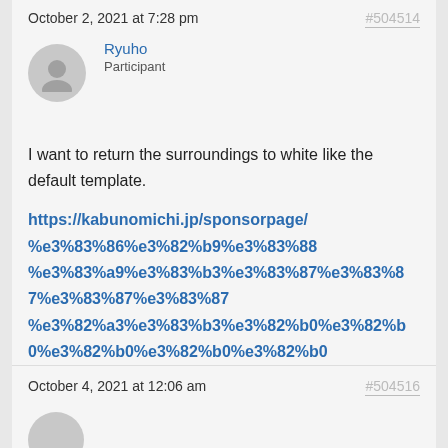October 2, 2021 at 7:28 pm  #504514
Ryuho
Participant
I want to return the surroundings to white like the default template.
https://kabunomichi.jp/sponsorpage/%e3%83%86%e3%82%b9%e3%83%88%e3%83%a9%e3%83%b3%e3%83%87%e3%82%a3%e3%83%b3%e3%82%b04/
October 4, 2021 at 12:06 am  #504516